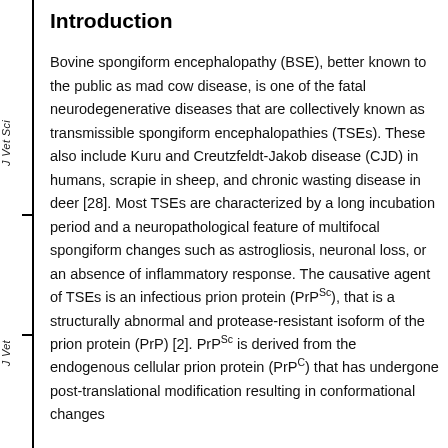Introduction
Bovine spongiform encephalopathy (BSE), better known to the public as mad cow disease, is one of the fatal neurodegenerative diseases that are collectively known as transmissible spongiform encephalopathies (TSEs). These also include Kuru and Creutzfeldt-Jakob disease (CJD) in humans, scrapie in sheep, and chronic wasting disease in deer [28]. Most TSEs are characterized by a long incubation period and a neuropathological feature of multifocal spongiform changes such as astrogliosis, neuronal loss, or an absence of inflammatory response. The causative agent of TSEs is an infectious prion protein (PrPSc), that is a structurally abnormal and protease-resistant isoform of the prion protein (PrP) [2]. PrPSc is derived from the endogenous cellular prion protein (PrPC) that has undergone post-translational modification resulting in conformational changes